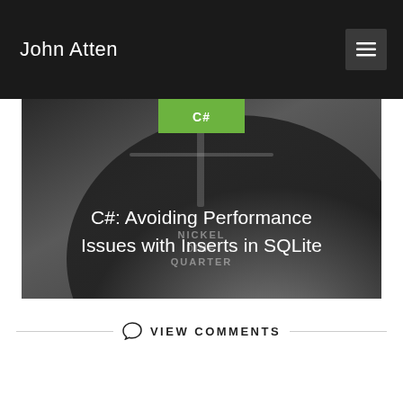John Atten
[Figure (photo): Hero image showing a coin scale/weight measuring device in dark tones, with 'C#' category tag in green and article title overlay]
C#: Avoiding Performance Issues with Inserts in SQLite
VIEW COMMENTS